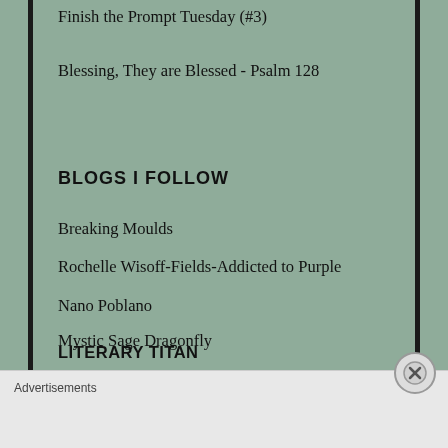Finish the Prompt Tuesday (#3)
Blessing, They are Blessed - Psalm 128
BLOGS I FOLLOW
Breaking Moulds
Rochelle Wisoff-Fields-Addicted to Purple
Nano Poblano
Mystic Sage Dragonfly
LITERARY TITAN
I'm Just Jason
Advertisements